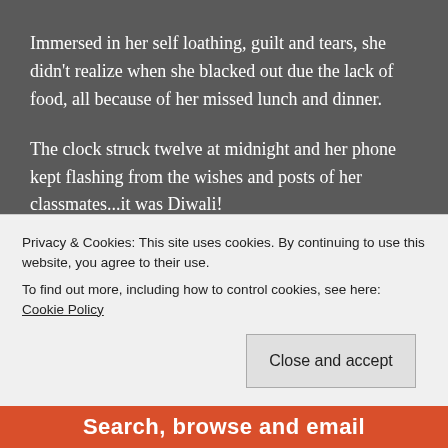Immersed in her self loathing, guilt and tears, she didn't realize when she blacked out due the lack of food, all because of her missed lunch and dinner.
The clock struck twelve at midnight and her phone kept flashing from the wishes and posts of her classmates...it was Diwali!
Diwali (in October this year) is a huge Hindu festival of
Privacy & Cookies: This site uses cookies. By continuing to use this website, you agree to their use.
To find out more, including how to control cookies, see here: Cookie Policy
Close and accept
Search, browse and email